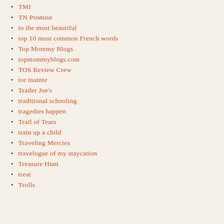TMI
TN Promise
to the most beautiful
top 10 most common French words
Top Mommy Blogs
topmommyblogs.com
TOS Review Crew
tor inainte
Trader Joe's
traditional schooling
tragedies happen
Trail of Tears
train up a child
Traveling Mercies
travelogue of my staycation
Treasure Hunt
treat
Trolls